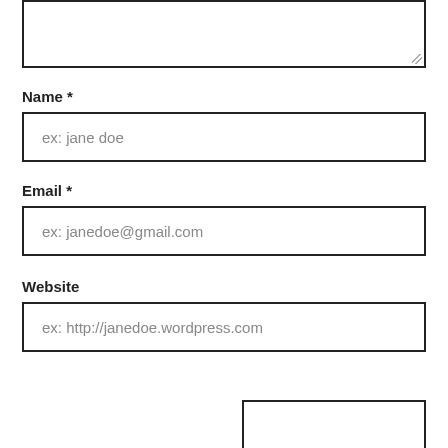[Figure (other): Textarea input box (comment/message field) at top of page, with resize handle at bottom-right corner]
Name *
[Figure (other): Text input field with placeholder text 'ex: jane doe']
Email *
[Figure (other): Text input field with placeholder text 'ex: janedoe@gmail.com']
Website
[Figure (other): Text input field with placeholder text 'ex: http://janedoe.wordpress.com']
[Figure (other): Partial input box visible at bottom-right, partially cut off]